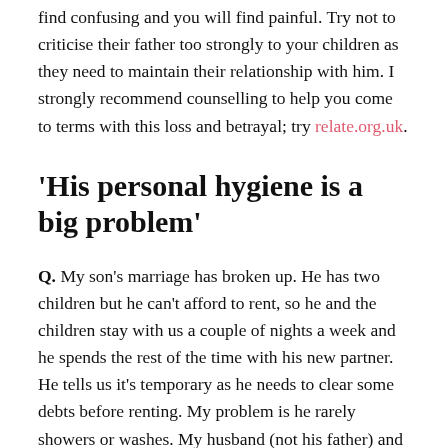find confusing and you will find painful. Try not to criticise their father too strongly to your children as they need to maintain their relationship with him. I strongly recommend counselling to help you come to terms with this loss and betrayal; try relate.org.uk.
'His personal hygiene is a big problem'
Q. My son's marriage has broken up. He has two children but he can't afford to rent, so he and the children stay with us a couple of nights a week and he spends the rest of the time with his new partner. He tells us it's temporary as he needs to clear some debts before renting. My problem is he rarely showers or washes. My husband (not his father) and I think it is disgusting. We have tried to say jokingly that he's